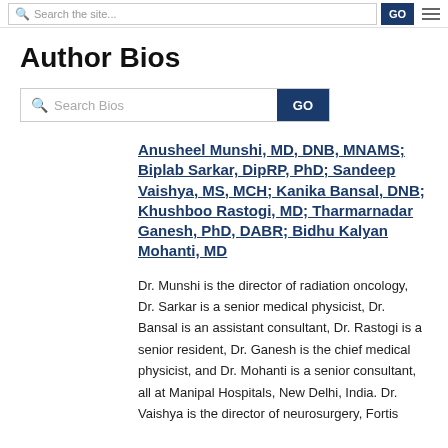Search the site... GO
Author Bios
Search Bios GO
Anusheel Munshi, MD, DNB, MNAMS; Biplab Sarkar, DipRP, PhD; Sandeep Vaishya, MS, MCH; Kanika Bansal, DNB; Khushboo Rastogi, MD; Tharmarnadar Ganesh, PhD, DABR; Bidhu Kalyan Mohanti, MD
Dr. Munshi is the director of radiation oncology, Dr. Sarkar is a senior medical physicist, Dr. Bansal is an assistant consultant, Dr. Rastogi is a senior resident, Dr. Ganesh is the chief medical physicist, and Dr. Mohanti is a senior consultant, all at Manipal Hospitals, New Delhi, India. Dr. Vaishya is the director of neurosurgery, Fortis